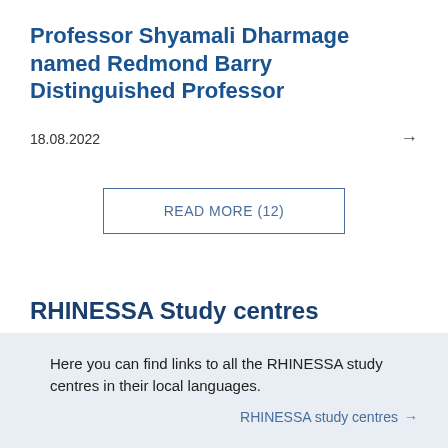Professor Shyamali Dharmage named Redmond Barry Distinguished Professor
18.08.2022
READ MORE (12)
RHINESSA Study centres
Here you can find links to all the RHINESSA study centres in their local languages.
RHINESSA study centres →